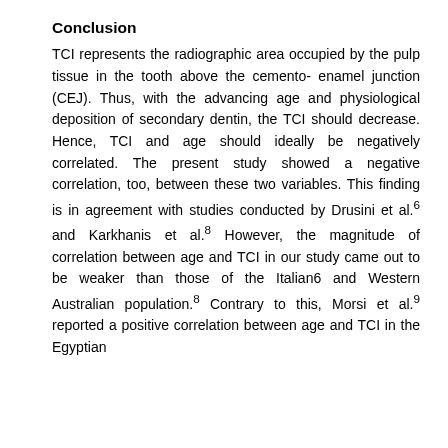Conclusion
TCI represents the radiographic area occupied by the pulp tissue in the tooth above the cemento- enamel junction (CEJ). Thus, with the advancing age and physiological deposition of secondary dentin, the TCI should decrease. Hence, TCI and age should ideally be negatively correlated. The present study showed a negative correlation, too, between these two variables. This finding is in agreement with studies conducted by Drusini et al.6 and Karkhanis et al.8 However, the magnitude of correlation between age and TCI in our study came out to be weaker than those of the Italian6 and Western Australian population.8 Contrary to this, Morsi et al.9 reported a positive correlation between age and TCI in the Egyptian